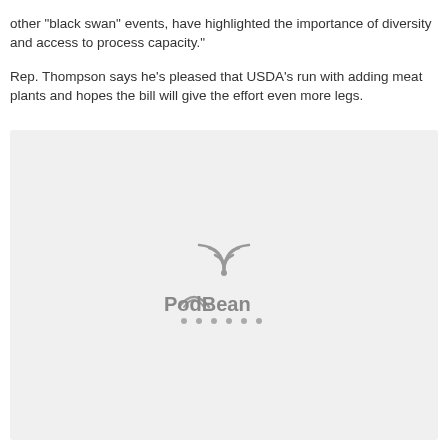other 'black swan' events, have highlighted the importance of diversity and access to process capacity."
Rep. Thompson says he's pleased that USDA's run with adding meat plants and hopes the bill will give the effort even more legs.
[Figure (other): PodBean podcast player embed placeholder with light gray background and PodBean logo with wifi/arc icon and dotted underline]